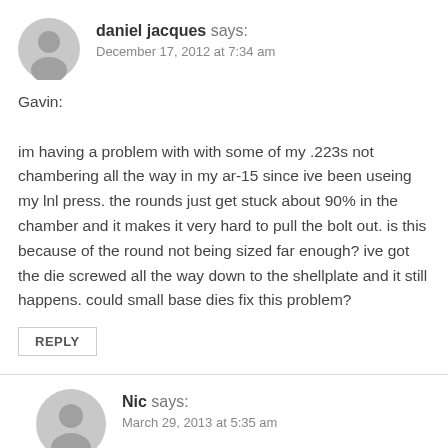daniel jacques says:
December 17, 2012 at 7:34 am
Gavin:

im having a problem with with some of my .223s not chambering all the way in my ar-15 since ive been useing my lnl press. the rounds just get stuck about 90% in the chamber and it makes it very hard to pull the bolt out. is this because of the round not being sized far enough? ive got the die screwed all the way down to the shellplate and it still happens. could small base dies fix this problem?
REPLY
Nic says:
March 29, 2013 at 5:35 am
Ive got this same problem and this is why im on the site